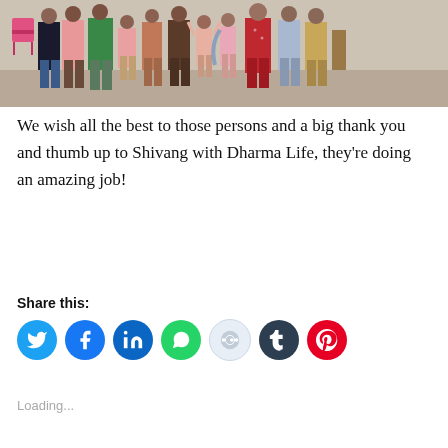[Figure (photo): Group photo of multiple people (children and adults) standing together indoors, wearing colorful clothing, with a pink plastic chair visible in the background.]
We wish all the best to those persons and a big thank you and thumb up to Shivang with Dharma Life, they’re doing an amazing job!
Share this:
[Figure (infographic): Row of social media share icon buttons: Twitter (blue), Facebook (blue), LinkedIn (blue), WhatsApp (green), Reddit (light blue/gray), Tumblr (dark navy), Pinterest (red)]
Loading...